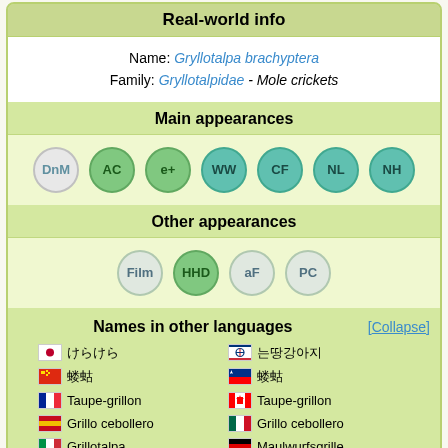Real-world info
Name: Gryllotalpa brachyptera
Family: Gryllotalpidae - Mole crickets
Main appearances
DnM AC e+ WW CF NL NH
Other appearances
Film HHD aF PC
Names in other languages
| Language | Name |
| --- | --- |
| Japanese | けらけら |
| Korean | 는땅강아지 |
| Chinese | 蝼蛄 |
| Taiwanese | 蝼蛄 |
| French | Taupe-grillon |
| Canadian French | Taupe-grillon |
| Spanish | Grillo cebollero |
| Mexican Spanish | Grillo cebollero |
| Italian | Grillotalpa |
| German | Maulwurfsgrille |
| Russian | Медведка |
| Dutch | Veenmol |
The Mole Cricket[nb 1] is a bug in the Animal Crossing series that has appeared in every game to date.
In the games that the Mole Cricket appears in, it is a uncommon bug that the player can encounter, and can be found flying underground, making a chirping noise. If the player digs where the noise is the